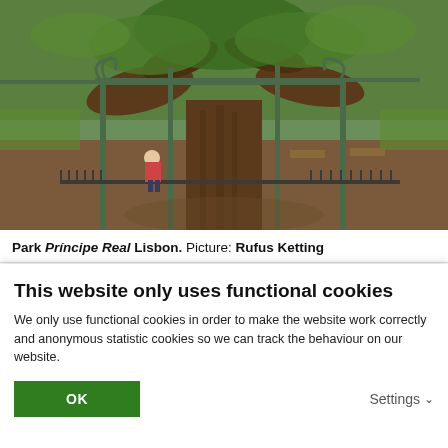[Figure (photo): Photograph of Park Príncipe Real in Lisbon showing a large ancient tree with a wide trunk supported by ornate green iron/metal structures and railings, with benches and green parkland visible in the background, a person sitting near the tree.]
Park Príncipe Real Lisbon. Picture: Rufus Ketting
This website only uses functional cookies
We only use functional cookies in order to make the website work correctly and anonymous statistic cookies so we can track the behaviour on our website.